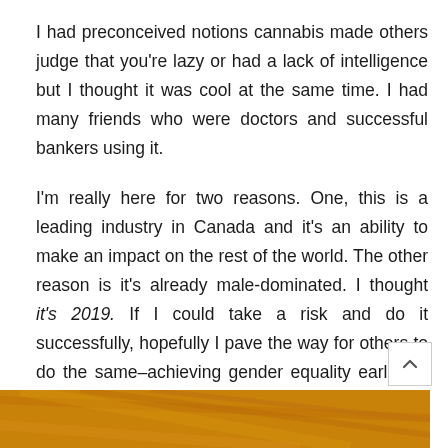I had preconceived notions cannabis made others judge that you're lazy or had a lack of intelligence but I thought it was cool at the same time. I had many friends who were doctors and successful bankers using it.
I'm really here for two reasons. One, this is a leading industry in Canada and it's an ability to make an impact on the rest of the world. The other reason is it's already male-dominated. I thought it's 2019. If I could take a risk and do it successfully, hopefully I pave the way for others to do the same–achieving gender equality earlier in this industry.
[Figure (photo): Bottom strip showing a golden/amber wood grain or textured surface photo]